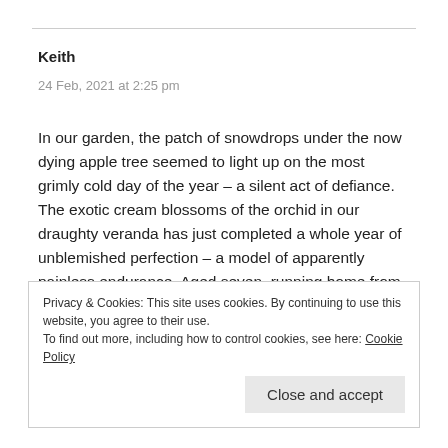Keith
24 Feb, 2021 at 2:25 pm
In our garden, the patch of snowdrops under the now dying apple tree seemed to light up on the most grimly cold day of the year – a silent act of defiance. The exotic cream blossoms of the orchid in our draughty veranda has just completed a whole year of unblemished perfection – a model of apparently painless endurance. Aged seven, running home from school along a noisy, polluted road in industrial Lancashire, I was stopped in my tracks by my first crocuses – a vision of bright
Privacy & Cookies: This site uses cookies. By continuing to use this website, you agree to their use.
To find out more, including how to control cookies, see here: Cookie Policy
Close and accept